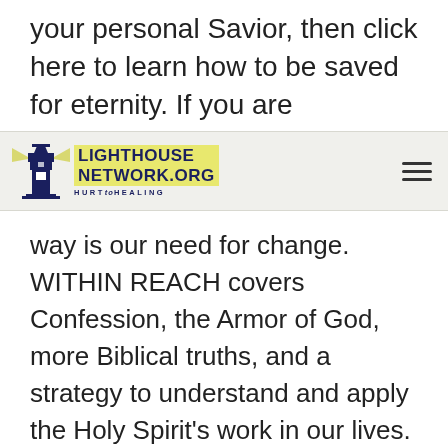your personal Savior, then click here to learn how to be saved for eternity. If you are
[Figure (logo): Lighthouse Network.org HURT to HEALING logo with lighthouse icon]
way is our need for change. WITHIN REACH covers Confession, the Armor of God, more Biblical truths, and a strategy to understand and apply the Holy Spirit's work in our lives.
To make a resolution is to make a decision with determination...a decision with firmness of mind and purpose. When the Spirit is in you and you are obeying, you will